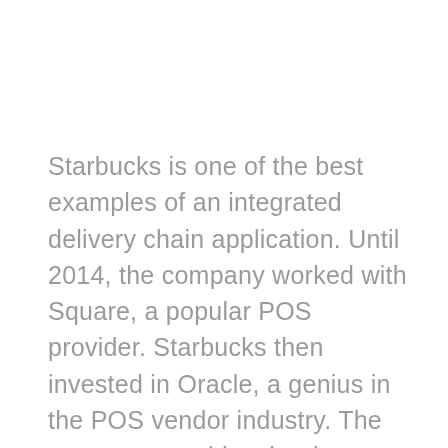Starbucks is one of the best examples of an integrated delivery chain application. Until 2014, the company worked with Square, a popular POS provider. Starbucks then invested in Oracle, a genius in the POS vendor industry. The company provides the data you need to make business decisions and scale.
For example, it sends offers to customers according to their shopping preferences. At